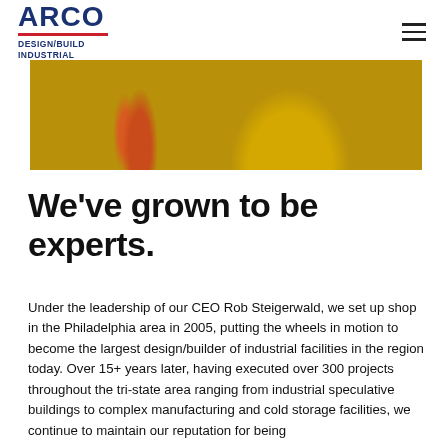ARCO DESIGN/BUILD INDUSTRIAL
[Figure (photo): Construction site photo showing orange traffic cones, yellow heavy machinery tires on a dirt/gravel ground surface]
We've grown to be experts.
Under the leadership of our CEO Rob Steigerwald, we set up shop in the Philadelphia area in 2005, putting the wheels in motion to become the largest design/builder of industrial facilities in the region today. Over 15+ years later, having executed over 300 projects throughout the tri-state area ranging from industrial speculative buildings to complex manufacturing and cold storage facilities, we continue to maintain our reputation for being